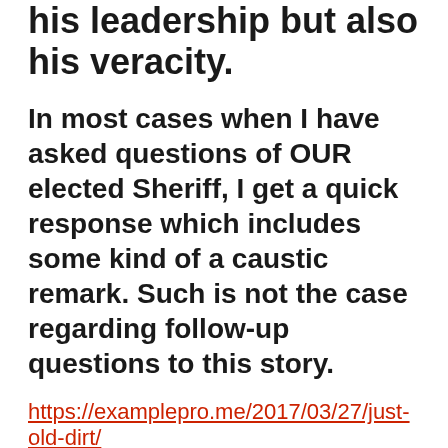his leadership but also his veracity.
In most cases when I have asked questions of OUR elected Sheriff, I get a quick response which includes some kind of a caustic remark. Such is not the case regarding follow-up questions to this story.
https://examplepro.me/2017/03/27/just-old-dirt/
The above story was a follow-up story to this one.